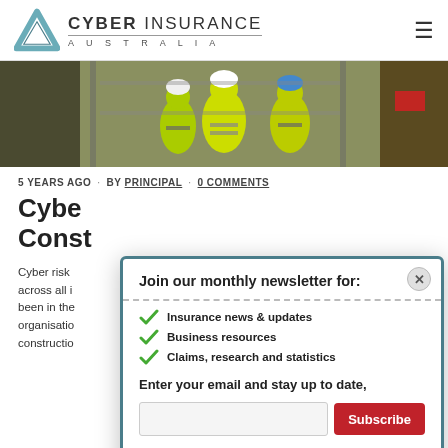Cyber Insurance Australia
[Figure (photo): Construction workers in yellow hi-vis vests and hard hats viewed from behind on a building site]
5 YEARS AGO · BY PRINCIPAL · 0 COMMENTS
Cyber [Insurance for the] Construction [Industry]
Cyber risk [is a growing concern] across all i[ndustries. It has] been in the [news... for] organisatio[ns in the] constructio[n industry]
Join our monthly newsletter for: Insurance news & updates, Business resources, Claims, research and statistics. Enter your email and stay up to date,